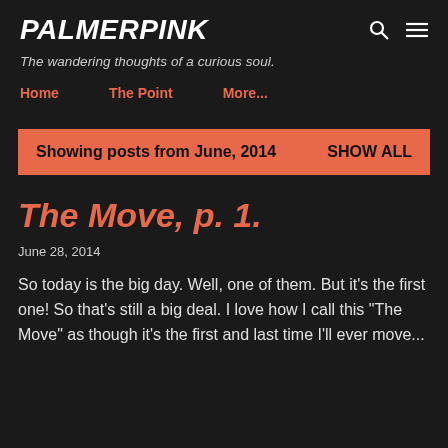PALMERPINK
The wandering thoughts of a curious soul.
Home
The Point
More...
Showing posts from June, 2014   SHOW ALL
The Move, p. 1.
June 28, 2014
So today is the big day. Well, one of them. But it's the first one! So that's still a big deal. I love how I call this "The Move" as though it's the first and last time I'll ever move...